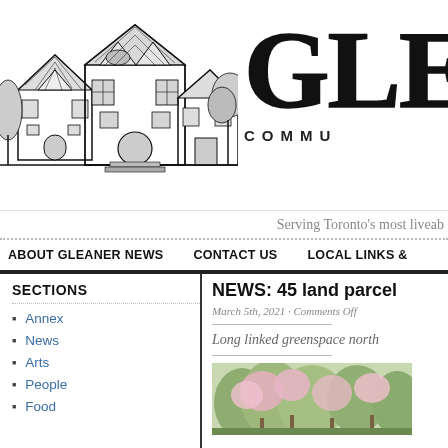[Figure (illustration): Black and white ink illustration of Victorian-style houses with trees]
GLE
COMMU
Serving Toronto's most liveab
ABOUT GLEANER NEWS   CONTACT US   LOCAL LINKS &
SECTIONS
Annex
News
Arts
People
Food
NEWS: 45 land parcel
March 5th, 2021 · Comments Off
Long linked greenspace north
[Figure (photo): Outdoor photo showing trees with pink blossoms]